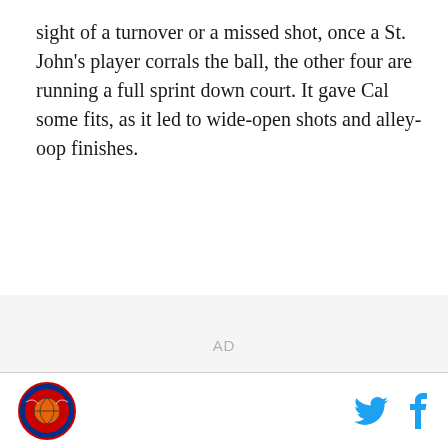sight of a turnover or a missed shot, once a St. John's player corrals the ball, the other four are running a full sprint down court. It gave Cal some fits, as it led to wide-open shots and alley-oop finishes.
[Figure (other): AD placeholder / advertisement banner]
Site logo (St. John's Red Storm) | Twitter icon | Facebook icon